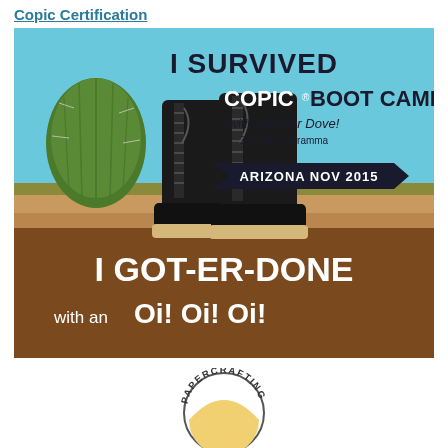Copic Certification
[Figure (illustration): Copic Boot Camp badge/image: sky blue upper section with illustrated black military boots, a green cactus, desert plants, and text 'I SURVIVED COPIC® BOOT CAMP with Jennifer Dove! Zoe, Nic & Gramma' and a dark banner reading 'ARIZONA NOV 2015'. Lower section is brown with white bold text 'I GOT-ER-DONE with an Oi! Oi! Oi!']
[Figure (logo): Papercrafting circular logo/badge — circular outline with text 'PAPERCRAFTING' around the top arc, and a yellow/gold sunrise or dome shape inside at the bottom.]